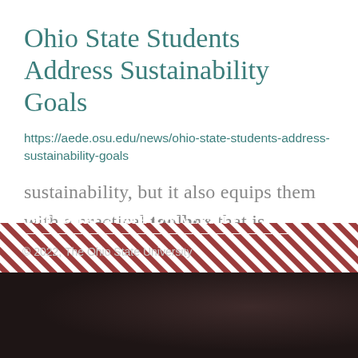Ohio State Students Address Sustainability Goals
https://aede.osu.edu/news/ohio-state-students-address-sustainability-goals
sustainability, but it also equips them with a practical toolbox that is attractive to potential employers." ...
The Ohio State University
© 2022, The Ohio State University